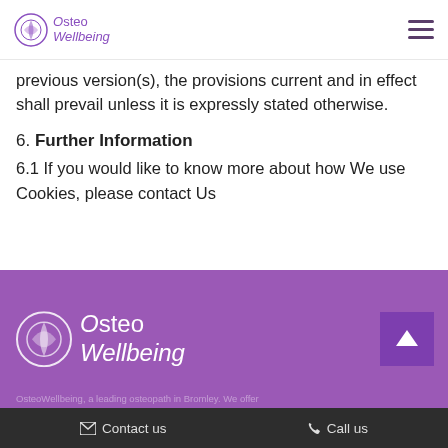OsteoWellbeing
previous version(s), the provisions current and in effect shall prevail unless it is expressly stated otherwise.
6. Further Information
6.1 If you would like to know more about how We use Cookies, please contact Us
[Figure (logo): OsteoWellbeing logo in footer purple section]
Contact us   Call us